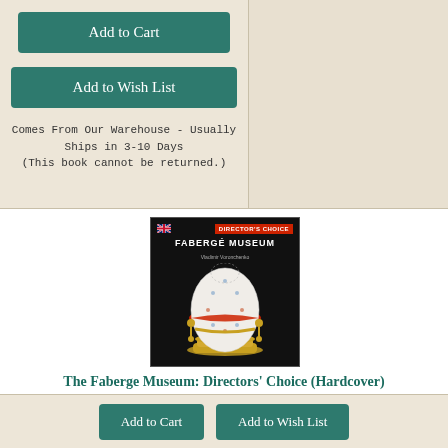Add to Cart
Add to Wish List
Comes From Our Warehouse - Usually Ships in 3-10 Days
(This book cannot be returned.)
[Figure (photo): Book cover of The Faberge Museum: Directors' Choice on dark background with Faberge egg image and UK flag icon]
The Faberge Museum: Directors' Choice (Hardcover)
By Vladimir Voronchenko
$22.50
Add to Cart
Add to Wish List